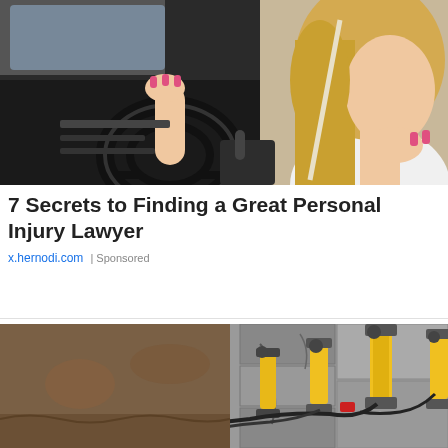[Figure (photo): Young blonde woman sitting in a car driver seat, one hand on the steering wheel, other hand touching her neck, looking sideways]
7 Secrets to Finding a Great Personal Injury Lawyer
x.hernodi.com | Sponsored
[Figure (photo): Construction excavation site near a building foundation with yellow hydraulic jacks/piers installed against cracked concrete blocks, with cables and pipes visible]